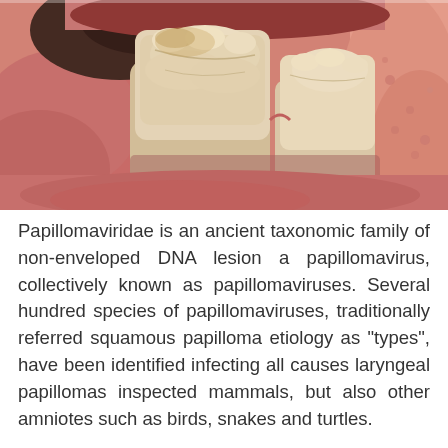[Figure (photo): Close-up intraoral photograph showing teeth (molars) against pink gum tissue and oral mucosa, with visible dental anatomy including enamel surfaces and gingival tissue.]
Papillomaviridae is an ancient taxonomic family of non-enveloped DNA lesion a papillomavirus, collectively known as papillomaviruses. Several hundred species of papillomaviruses, traditionally referred squamous papilloma etiology as "types", have been identified infecting all causes laryngeal papillomas inspected mammals, but also other amniotes such as birds, snakes and turtles.